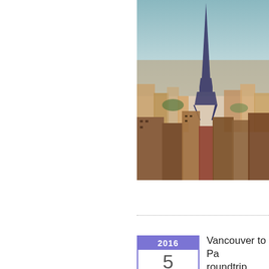[Figure (photo): Aerial view of Paris cityscape with Eiffel Tower prominent in the background, warm tones, city rooftops in foreground]
Read more
0 Comments
2016 5
Vancouver to Pa... roundtrip includi...